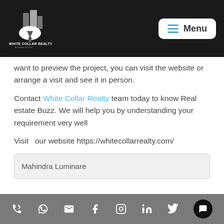[Figure (logo): White Collar Realty logo - buildings icon above white collar/tie graphic with text WHITE COLLAR REALTY A Tradition of Trust]
Menu
want to preview the project, you can visit the website or arrange a visit and see it in person.
Contact White Collar Realty team today to know Real estate Buzz. We will help you by understanding your requirement very well
Visit  our website https://whitecollarrealty.com/
Mahindra Luminare
Social media icons: phone, WhatsApp, email, Facebook, Instagram, LinkedIn, Twitter, chat